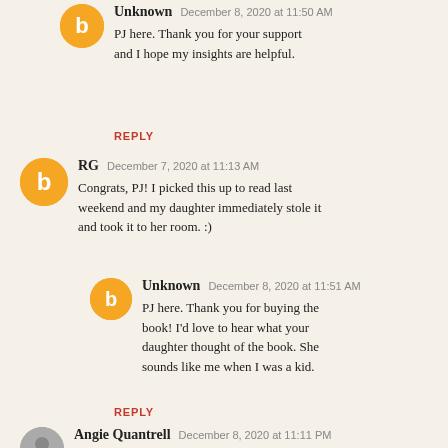Unknown  December 8, 2020 at 11:50 AM
PJ here. Thank you for your support and I hope my insights are helpful.
REPLY
RG  December 7, 2020 at 11:13 AM
Congrats, PJ! I picked this up to read last weekend and my daughter immediately stole it and took it to her room. :)
Unknown  December 8, 2020 at 11:51 AM
PJ here. Thank you for buying the book! I'd love to hear what your daughter thought of the book. She sounds like me when I was a kid.
REPLY
Angie Quantrell  December 8, 2020 at 11:11 PM